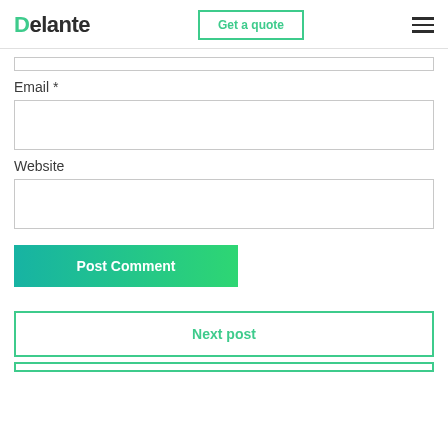Delante | Get a quote
Email *
Website
Post Comment
Next post